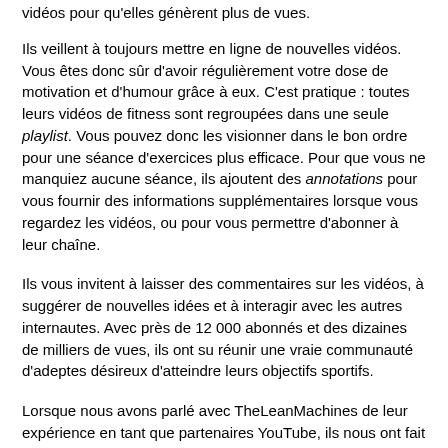vidéos pour qu'elles génèrent plus de vues.
Ils veillent à toujours mettre en ligne de nouvelles vidéos. Vous êtes donc sûr d'avoir régulièrement votre dose de motivation et d'humour grâce à eux. C'est pratique : toutes leurs vidéos de fitness sont regroupées dans une seule playlist. Vous pouvez donc les visionner dans le bon ordre pour une séance d'exercices plus efficace. Pour que vous ne manquiez aucune séance, ils ajoutent des annotations pour vous fournir des informations supplémentaires lorsque vous regardez les vidéos, ou pour vous permettre d'abonner à leur chaîne.
Ils vous invitent à laisser des commentaires sur les vidéos, à suggérer de nouvelles idées et à interagir avec les autres internautes. Avec près de 12 000 abonnés et des dizaines de milliers de vues, ils ont su réunir une vraie communauté d'adeptes désireux d'atteindre leurs objectifs sportifs.
Lorsque nous avons parlé avec TheLeanMachines de leur expérience en tant que partenaires YouTube, ils nous ont fait part de quelques conseils pratiques. Ils nous ont d'abord expliqué qu'il ne fallait pas se soucier des autres vidéos qui traitent du même sujet que celui qui vous intéresse. Créez les vidéos que vous voulez et ajoutez-y votre touche personnelle !
Ils ont également insisté sur l'importance d'une connexion avec vos